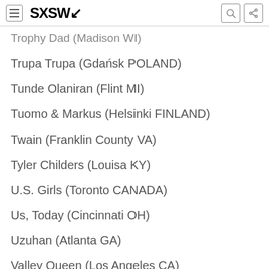SXSW
Trophy Dad (Madison WI)
Trupa Trupa (Gdańsk POLAND)
Tunde Olaniran (Flint MI)
Tuomo & Markus (Helsinki FINLAND)
Twain (Franklin County VA)
Tyler Childers (Louisa KY)
U.S. Girls (Toronto CANADA)
Us, Today (Cincinnati OH)
Uzuhan (Atlanta GA)
Valley Queen (Los Angeles CA)
The Veldt (Raleigh NC)
Violet Days (Stockholm SWEDEN)
Von Grey (Atlanta GA)
VZn (Jersey City NJ)